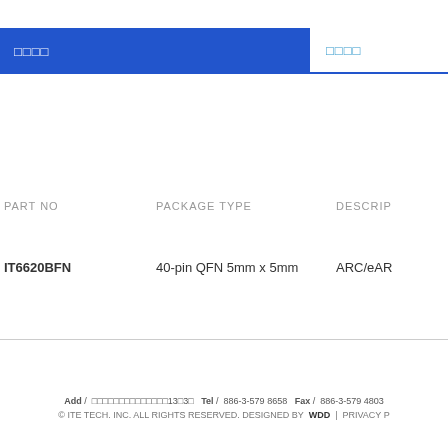□□□□  □□□□
| PART NO | PACKAGE TYPE | DESCRIP |
| --- | --- | --- |
| IT6620BFN | 40-pin QFN 5mm x 5mm | ARC/eAR |
Add / □□□□□□□□□□□□□□13□3□  Tel / 886-3-579 8658  Fax / 886-3-579 4803
© ITE TECH. INC. ALL RIGHTS RESERVED. DESIGNED BY  WDD  |  PRIVACY P